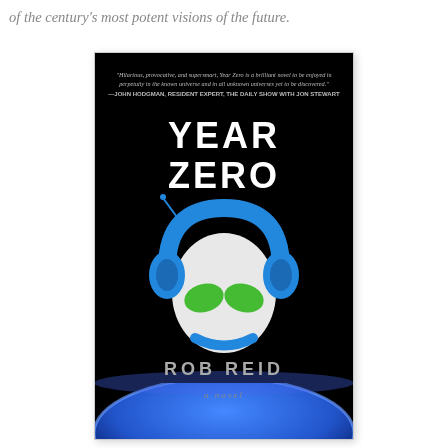of the century's most potent visions of the future.
[Figure (illustration): Book cover of 'Year Zero' by Rob Reid. Black background with an alien head wearing blue headphones and green eyes. Quote at top by John Hodgman. Author name and 'a novel' at bottom with Earth image.]